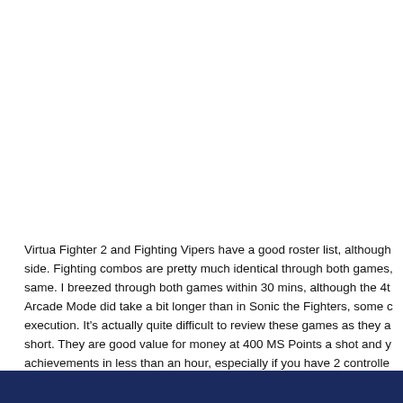Virtua Fighter 2 and Fighting Vipers have a good roster list, although side. Fighting combos are pretty much identical through both games, same. I breezed through both games within 30 mins, although the 4t Arcade Mode did take a bit longer than in Sonic the Fighters, some c execution. It's actually quite difficult to review these games as they a short. They are good value for money at 400 MS Points a shot and y achievements in less than an hour, especially if you have 2 controlle more obscure ones.